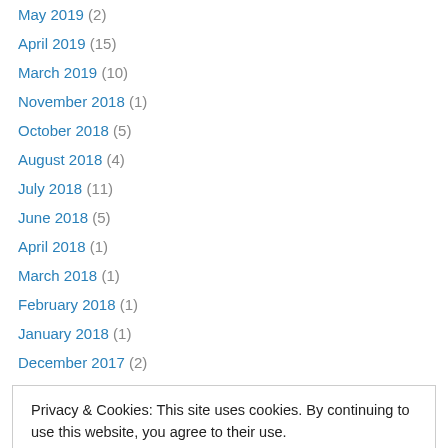May 2019 (2)
April 2019 (15)
March 2019 (10)
November 2018 (1)
October 2018 (5)
August 2018 (4)
July 2018 (11)
June 2018 (5)
April 2018 (1)
March 2018 (1)
February 2018 (1)
January 2018 (1)
December 2017 (2)
Privacy & Cookies: This site uses cookies. By continuing to use this website, you agree to their use. To find out more, including how to control cookies, see here: Cookie Policy
April 2017 (4)